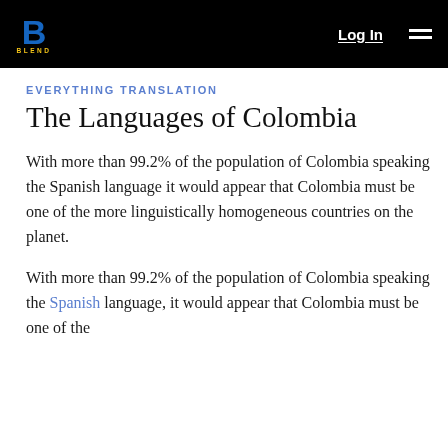BLEND Log In ☰
EVERYTHING TRANSLATION
The Languages of Colombia
With more than 99.2% of the population of Colombia speaking the Spanish language it would appear that Colombia must be one of the more linguistically homogeneous countries on the planet.
With more than 99.2% of the population of Colombia speaking the Spanish language, it would appear that Colombia must be one of the